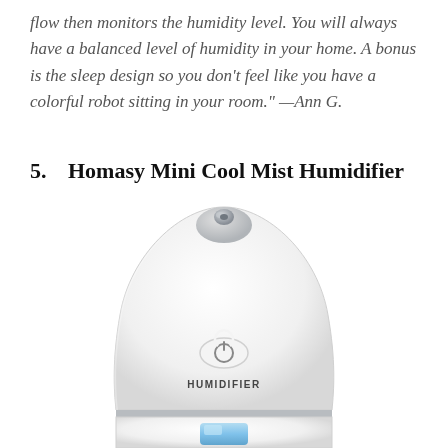flow then monitors the humidity level. You will always have a balanced level of humidity in your home. A bonus is the sleep design so you don't feel like you have a colorful robot sitting in your room." —Ann G.
5.  Homasy Mini Cool Mist Humidifier
[Figure (photo): Photo of a white dome-shaped Homasy Mini Cool Mist Humidifier with a small metallic mist nozzle at the top, a power button on the front, 'HUMIDIFIER' text printed on the body, a gray separator band, and a blue light window at the bottom.]